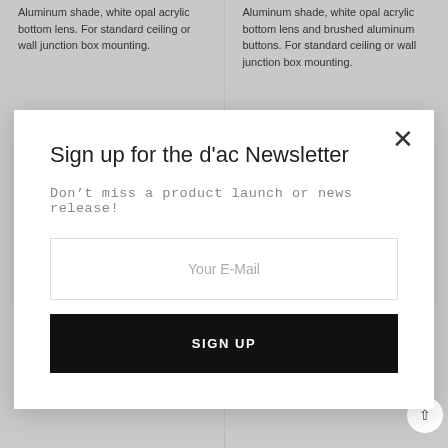Aluminum shade, white opal acrylic bottom lens. For standard ceiling or wall junction box mounting.
Aluminum shade, white opal acrylic bottom lens and brushed aluminum buttons. For standard ceiling or wall junction box mounting.
Sign up for the d'ac Newsletter
Don't miss a product launch or news release!
Your E-Mail
SIGN UP
Fixture
Aluminum shade, white opal acrylic bottom lens and brushed aluminum buttons. For standard ceiling or wall junction box mounting.
Fixture
Aluminum shade, white opal acrylic bottom lens and brushed aluminum buttons. For standard ceiling or wall junction box mounting.